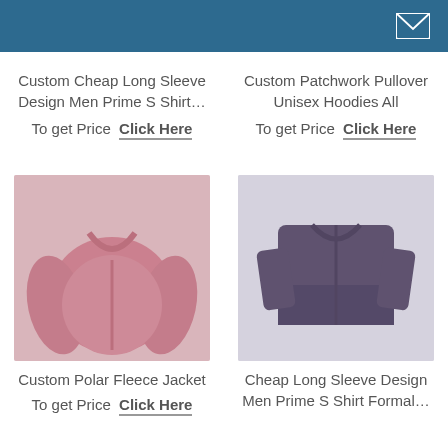Custom Cheap Long Sleeve Design Men Prime S Shirt...
To get Price  Click Here
Custom Patchwork Pullover Unisex Hoodies All
To get Price  Click Here
[Figure (photo): Pink polar fleece jacket product photo on white/light background]
Custom Polar Fleece Jacket
To get Price  Click Here
[Figure (photo): Dark navy/purple folded formal shirt product photo on light background]
Cheap Long Sleeve Design Men Prime S Shirt Formal...